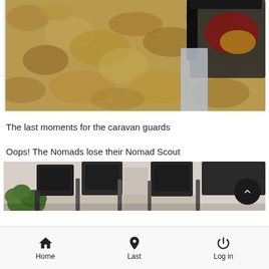[Figure (photo): Close-up photo of a textured gold/brown floor surface with some dark objects including what appears to be fabric and equipment in the upper right corner]
The last moments for the caravan guards
Oops! The Nomads lose their Nomad Scout
[Figure (photo): Photo showing black chairs and a table in what appears to be a cafe or meeting space, with green plants visible on the left]
Home  Last  Log in